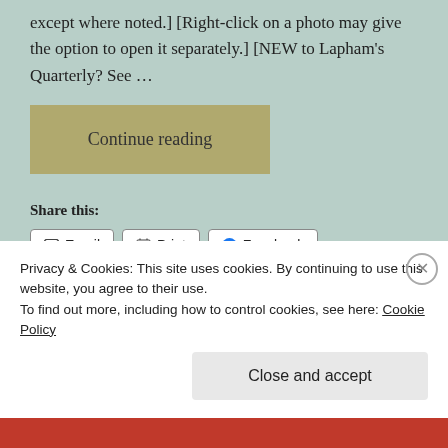except where noted.] [Right-click on a photo may give the option to open it separately.] [NEW to Lapham's Quarterly? See ...
Continue reading
Share this:
Email  Print  Facebook  LinkedIn
Twitter
Privacy & Cookies: This site uses cookies. By continuing to use this website, you agree to their use.
To find out more, including how to control cookies, see here: Cookie Policy
Close and accept